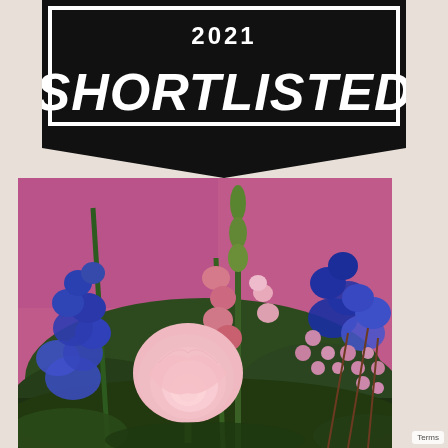[Figure (logo): 2021 SHORTLISTED award badge with black background, white bold italic text, and chevron/ribbon design at bottom]
[Figure (photo): Floral arrangement photograph showing pink rose in center, blue delphiniums on left, pink snapdragons and wax flowers, against a pink/magenta wall background]
Terms